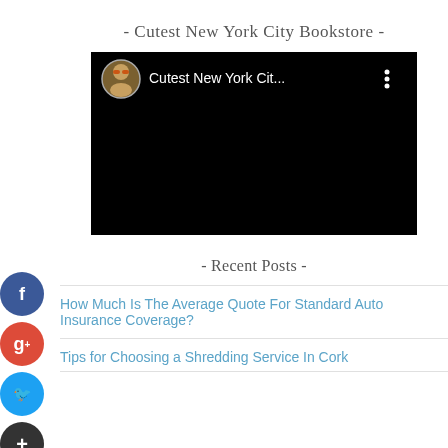- Cutest New York City Bookstore -
[Figure (screenshot): Video player thumbnail showing a dark/black video with a top bar containing a circular avatar photo of a person wearing sunglasses, the title 'Cutest New York Cit...' in white text, and a three-dot menu icon.]
- Recent Posts -
How Much Is The Average Quote For Standard Auto Insurance Coverage?
Tips for Choosing a Shredding Service In Cork